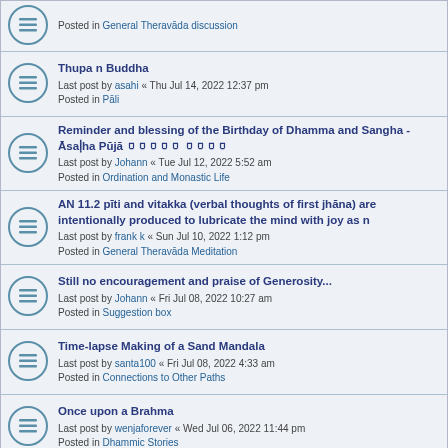Posted in General Theravāda discussion
Thupa n Buddha
Last post by asahi « Thu Jul 14, 2022 12:37 pm
Posted in Pāli
Reminder and blessing of the Birthday of Dhamma and Sangha - Āsaḷha Pūjā ០០០០០ ០០០០
Last post by Johann « Tue Jul 12, 2022 5:52 am
Posted in Ordination and Monastic Life
AN 11.2 pīti and vitakka (verbal thoughts of first jhāna) are intentionally produced to lubricate the mind with joy as n
Last post by frank k « Sun Jul 10, 2022 1:12 pm
Posted in General Theravāda Meditation
Still no encouragement and praise of Generosity...
Last post by Johann « Fri Jul 08, 2022 10:27 am
Posted in Suggestion box
Time-lapse Making of a Sand Mandala
Last post by santa100 « Fri Jul 08, 2022 4:33 am
Posted in Connections to Other Paths
Once upon a Brahma
Last post by wenjaforever « Wed Jul 06, 2022 11:44 pm
Posted in Dhammic Stories
Search found more than 1000 matches  1  2  3  4  5  ...  40